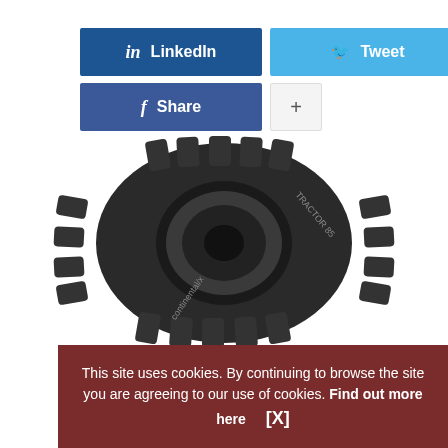[Figure (infographic): Social media sharing buttons: LinkedIn (dark blue), Tweet (light blue), Share/Facebook (dark blue), and a plus (+) button]
[Figure (photo): Continental Tractor 85 agricultural tractor tire, large black rubber tire with deep tread pattern, shown at an angle]
Continental is supplying John Deere's factory from it produc
This site uses cookies. By continuing to browse the site you are agreeing to our use of cookies. Find out more here   [X]